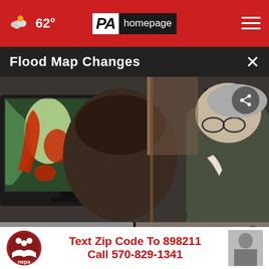62° | PA Homepage | Menu
Flood Map Changes
[Figure (photo): Two people looking at a computer monitor displaying a flood map with red and green color-coded areas showing flood zones]
[Figure (screenshot): Two video thumbnails side by side with play buttons]
Text Zip Code To 898211 Call 570-829-1341